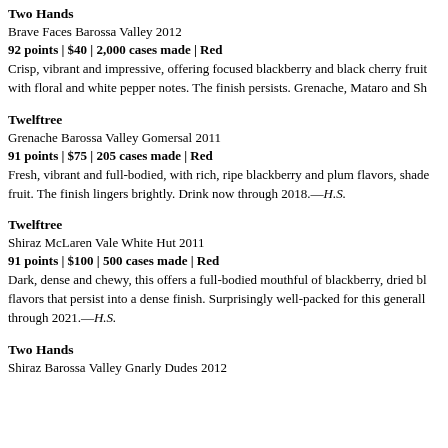Two Hands
Brave Faces Barossa Valley 2012
92 points | $40 | 2,000 cases made | Red
Crisp, vibrant and impressive, offering focused blackberry and black cherry fruit with floral and white pepper notes. The finish persists. Grenache, Mataro and Sh
Twelftree
Grenache Barossa Valley Gomersal 2011
91 points | $75 | 205 cases made | Red
Fresh, vibrant and full-bodied, with rich, ripe blackberry and plum flavors, shade fruit. The finish lingers brightly. Drink now through 2018.—H.S.
Twelftree
Shiraz McLaren Vale White Hut 2011
91 points | $100 | 500 cases made | Red
Dark, dense and chewy, this offers a full-bodied mouthful of blackberry, dried bl flavors that persist into a dense finish. Surprisingly well-packed for this generall through 2021.—H.S.
Two Hands
Shiraz Barossa Valley Gnarly Dudes 2012